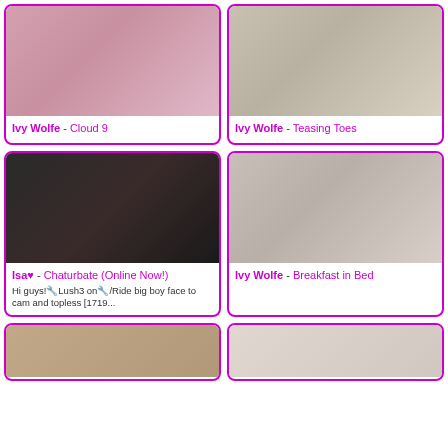[Figure (photo): Photo of Ivy Wolfe posing on a bed in denim shorts]
Ivy Wolfe - Cloud 9
[Figure (photo): Photo of two women laughing in a car]
Ivy Wolfe - Teasing Toes
[Figure (photo): Photo of Isa with Instagram icon overlay]
Isa♥ - Chaturbate (Online Now!)
Hi guys!🔧Lush3 on🔧/Ride big boy face to cam and topless [1719...
[Figure (photo): Photo of Ivy Wolfe lying on a bed with a breakfast tray]
Ivy Wolfe - Breakfast in Bed
[Figure (photo): Partially visible photo at bottom left]
[Figure (photo): Partially visible photo at bottom right]